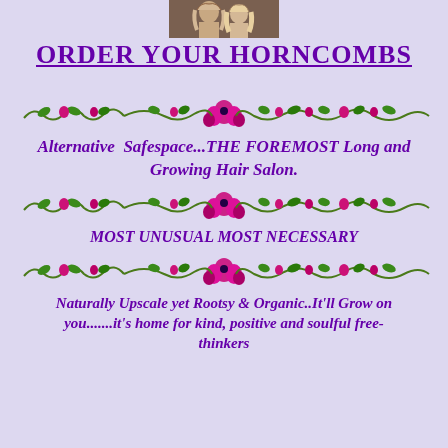[Figure (photo): Small photo of a person with long hair at the top center of the page]
ORDER YOUR HORNCOMBS
[Figure (illustration): Decorative floral/vine divider with pink flowers and green leaves]
Alternative Safespace...THE FOREMOST Long and Growing Hair Salon.
[Figure (illustration): Decorative floral/vine divider with pink flowers and green leaves]
MOST UNUSUAL MOST NECESSARY
[Figure (illustration): Decorative floral/vine divider with pink flowers and green leaves]
Naturally Upscale yet Rootsy & Organic..It'll Grow on you.......it's home for kind, positive and soulful free-thinkers